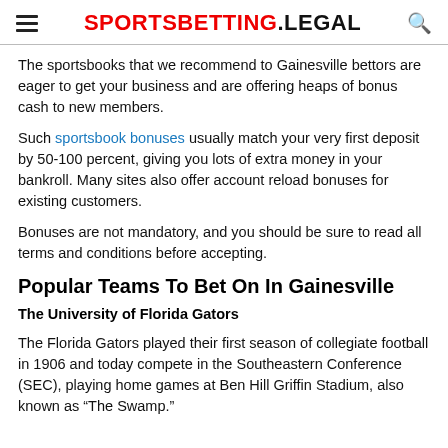SPORTSBETTING.LEGAL
The sportsbooks that we recommend to Gainesville bettors are eager to get your business and are offering heaps of bonus cash to new members.
Such sportsbook bonuses usually match your very first deposit by 50-100 percent, giving you lots of extra money in your bankroll. Many sites also offer account reload bonuses for existing customers.
Bonuses are not mandatory, and you should be sure to read all terms and conditions before accepting.
Popular Teams To Bet On In Gainesville
The University of Florida Gators
The Florida Gators played their first season of collegiate football in 1906 and today compete in the Southeastern Conference (SEC), playing home games at Ben Hill Griffin Stadium, also known as “The Swamp.”